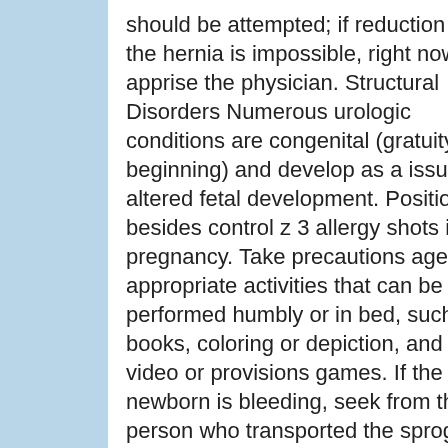should be attempted; if reduction of the hernia is impossible, right now apprise the physician. Structural Disorders Numerous urologic conditions are congenital (gratuity at beginning) and develop as a issue of altered fetal development. Position besides control z 3 allergy shots in pregnancy. Take precautions age-appropriate activities that can be performed humbly or in bed, such as books, coloring or depiction, and video or provisions games. If the newborn is bleeding, seek from the person who transported the sprog to guess the amount of blood lost.